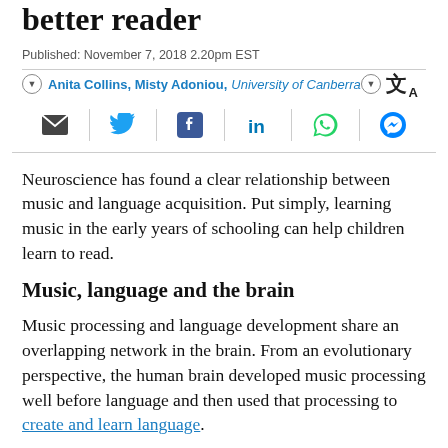better reader
Published: November 7, 2018 2.20pm EST
Anita Collins, Misty Adoniou, University of Canberra
[Figure (infographic): Social sharing icons: email, Twitter, Facebook, LinkedIn, WhatsApp, Messenger]
Neuroscience has found a clear relationship between music and language acquisition. Put simply, learning music in the early years of schooling can help children learn to read.
Music, language and the brain
Music processing and language development share an overlapping network in the brain. From an evolutionary perspective, the human brain developed music processing well before language and then used that processing to create and learn language.